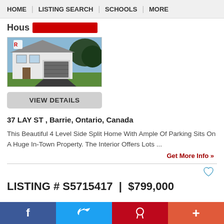HOME | LISTING SEARCH | SCHOOLS | MORE
Hous[redacted]
[Figure (photo): Exterior photo of a two-storey house with attached garage, dark driveway, green lawn, and trees.]
VIEW DETAILS
37 LAY ST , Barrie, Ontario, Canada
This Beautiful 4 Level Side Split Home With Ample Of Parking Sits On A Huge In-Town Property. The Interior Offers Lots ...
Get More Info »
LISTING # S5715417  |  $799,000